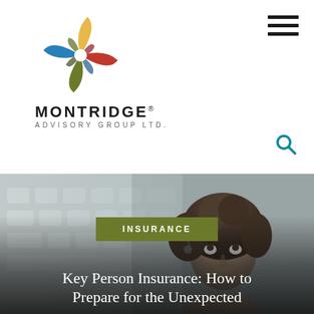[Figure (logo): Montridge Advisory Group Ltd. logo — colorful pinwheel/cross shape in red, gold, green, blue with white center dot]
MONTRIDGE® ADVISORY GROUP LTD.
[Figure (photo): Woman with curly dark hair looking upward, blurred keyboard/office background, with olive-green INSURANCE category badge overlay and page title overlay]
INSURANCE
Key Person Insurance: How to Prepare for the Unexpected